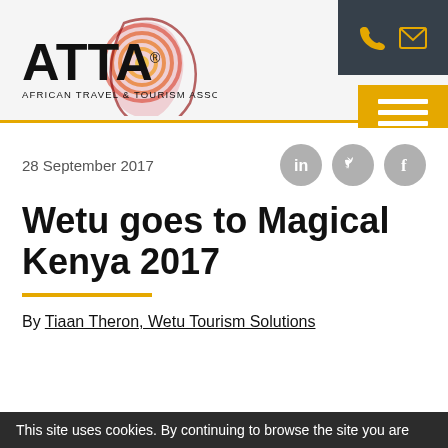[Figure (logo): ATTA African Travel & Tourism Association logo with colorful Africa map icon]
28 September 2017
Wetu goes to Magical Kenya 2017
By Tiaan Theron, Wetu Tourism Solutions
This site uses cookies. By continuing to browse the site you are